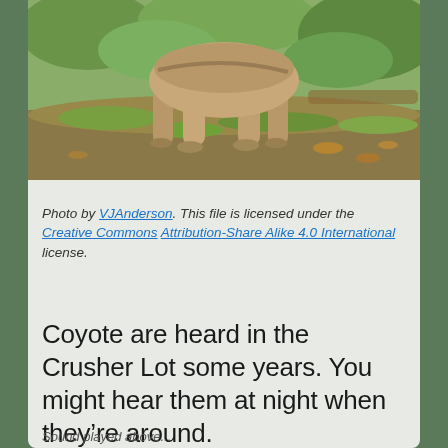[Figure (photo): Cropped photo of a coyote standing on grass/ground, showing legs and lower body, green vegetation in background]
Photo by VJAnderson. This file is licensed under the Creative Commons Attribution-Share Alike 4.0 International license.
Coyote are heard in the Crusher Lot some years. You might hear them at night when they're around.
[Figure (other): Audio player showing 0:00 / 0:27 with play button, progress bar, volume and more options icons]
Sound played above...